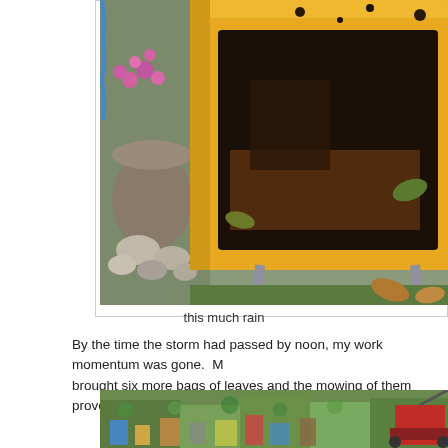[Figure (photo): Overhead view of a yellow wheelbarrow with muddy water and dirt inside, parked on grass. To the left is a garden area with rocks, a stone pot, and pink flowers. The wheelbarrow has silver metal handles/legs visible at the bottom.]
this much rain
By the time the storm had passed by noon, my work momentum was gone.  M... brought six more bags of leaves and the mowing of them proved irresistible.
[Figure (photo): Garden scene with various plants, bags, containers, pots, and a lawn mower visible on the right side. Lush green and overgrown garden area with multiple items scattered around.]